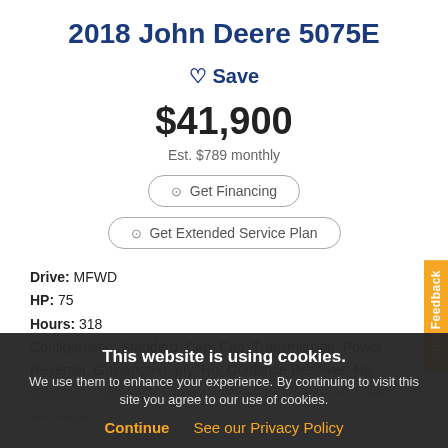2018 John Deere 5075E
♡ Save
$41,900
Est. $789 monthly
⊙ Get Financing
⊙ Get Extended Service Plan
Drive: MFWD
HP: 75
Hours: 318
Configuration: Standard, Cab: Cab, Transmission: Power Reverser, Guidance-ready: No, Guidance Receiver: No, Guidance Display: No, Front Axle: MFWD, Rear PTO: 540, Tire Width... See all
This website is using cookies.
We use them to enhance your experience. By continuing to visit this site you agree to our use of cookies.
Continue   See our Privacy Policy